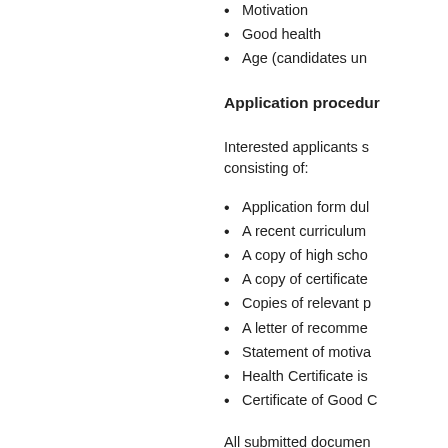Motivation
Good health
Age (candidates un...
Application procedur...
Interested applicants s... consisting of:
Application form dul...
A recent curriculum...
A copy of high scho...
A copy of certificate...
Copies of relevant p...
A letter of recomme...
Statement of motiva...
Health Certificate is...
Certificate of Good C...
All submitted documen... accepted. It is the appl... competent office; and ...